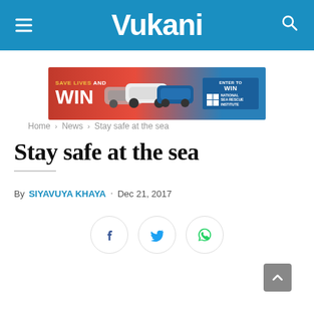Vukani
[Figure (infographic): Advertisement banner: SAVE LIVES AND WIN with cars and ENTER TO WIN / NATIONAL SEA RESCUE INSTITUTE]
Home > News > Stay safe at the sea
Stay safe at the sea
By SIYAVUYA KHAYA . Dec 21, 2017
[Figure (infographic): Social share buttons: Facebook, Twitter, WhatsApp]